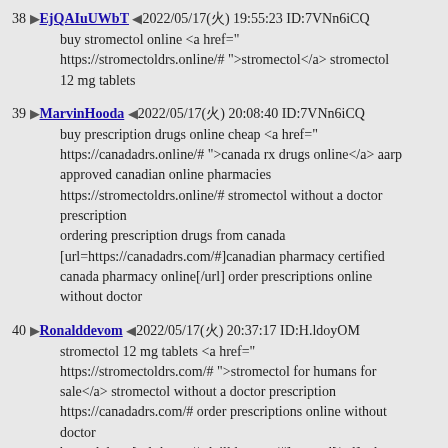38 ▶EjQAIuUWbT ◀2022/05/17(火) 19:55:23 ID:7VNn6iCQ
buy stromectol online <a href="
https://stromectoldrs.online/# ">stromectol</a> stromectol
12 mg tablets
39 ▶MarvinHooda ◀2022/05/17(火) 20:08:40 ID:7VNn6iCQ
buy prescription drugs online cheap <a href="
https://canadadrs.online/# ">canada rx drugs online</a> aarp
approved canadian online pharmacies
https://stromectoldrs.online/# stromectol without a doctor
prescription
ordering prescription drugs from canada
[url=https://canadadrs.com/#]canadian pharmacy certified
canada pharmacy online[/url] order prescriptions online
without doctor
40 ▶Ronalddevom ◀2022/05/17(火) 20:37:17 ID:H.ldoyOM
stromectol 12 mg tablets <a href="
https://stromectoldrs.com/# ">stromectol for humans for
sale</a> stromectol without a doctor prescription
https://canadadrs.com/# order prescriptions online without
doctor
best ed drug [url=https://edpilldrs.com/#]cure ed[/url] ed
pills comparison